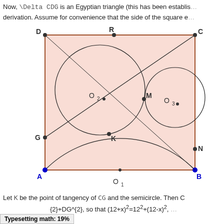Now, \Delta CDG is an Egyptian triangle (this has been established earlier in the derivation. Assume for convenience that the side of the square e...
[Figure (engineering-diagram): Geometric diagram showing a square ABCD with vertices labeled D (top-left), R (top-center), C (top-right), A (bottom-left), B (bottom-right), G (left side), N (right side), M (interior intersection point), K (interior tangency point), O1 (below bottom edge, center). Inside the square: a large circle centered at O2 (upper-left region), a smaller circle centered at O3 (upper-right region), and a large semicircle centered at O1 below the bottom edge. Lines from C to G and other geometric constructions are shown. The square is filled with a light pink/salmon color.]
Let K be the point of tangency of CG and the semicircle. Then C...
{2}+DG^{2}, so that (12+x)^{2}=12^{2}+(12-x)^{2}, ...
Typesetting math: 19%